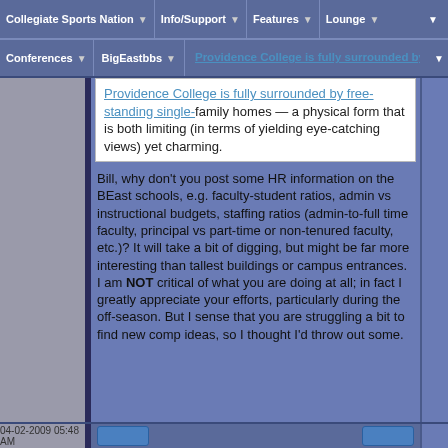Collegiate Sports Nation | Info/Support | Features | Lounge | Conferences | BigEastbbs
Providence College is fully surrounded by free-standing single-family homes — a physical form that is both limiting (in terms of yielding eye-catching views) yet charming.
Bill, why don't you post some HR information on the BEast schools, e.g. faculty-student ratios, admin vs instructional budgets, staffing ratios (admin-to-full time faculty, principal vs part-time or non-tenured faculty, etc.)? It will take a bit of digging, but might be far more interesting than tallest buildings or campus entrances. I am NOT critical of what you are doing at all; in fact I greatly appreciate your efforts, particularly during the off-season. But I sense that you are struggling a bit to find new comp ideas, so I thought I'd throw out some.
04-02-2009 05:48 AM